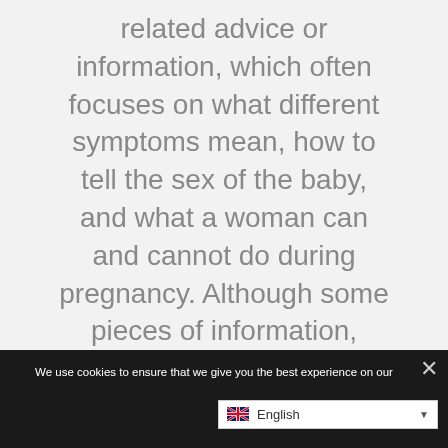related advice or information, which often focuses on what different symptoms mean, how to tell the sex of the baby, and what a woman can and cannot do during pregnancy. Although some pieces of information, particularly those from healthcare professionals, can be accurate and helpful, lots of myths
We use cookies to ensure that we give you the best experience on our website. If you continue to use this site we will assume that you are happy with it.
Ok
English